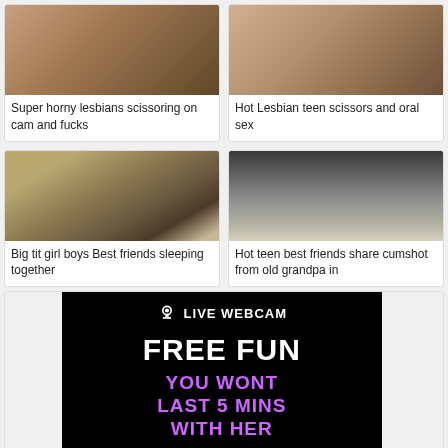[Figure (photo): Thumbnail image for video card]
Super horny lesbians scissoring on cam and fucks
[Figure (photo): Thumbnail image for video card]
Hot Lesbian teen scissors and oral sex
[Figure (photo): Bedroom scene thumbnail]
Big tit girl boys Best friends sleeping together
[Figure (photo): Couple scene thumbnail]
Hot teen best friends share cumshot from old grandpa in
[Figure (other): Live webcam advertisement banner with text: LIVE WEBCAM, FREE FUN, YOU WONT LAST 5 MINS WITH HER, WATCH]